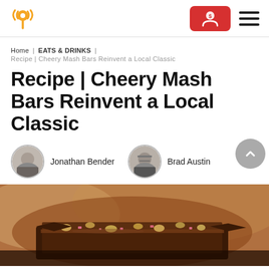Logo | Red button | Hamburger menu
Home | EATS & DRINKS | Recipe | Cheery Mash Bars Reinvent a Local Classic
Recipe | Cheery Mash Bars Reinvent a Local Classic
Jonathan Bender   Brad Austin
[Figure (photo): Close-up photo of chocolate bars with nuts and pink candy pieces, dark chocolate base visible]